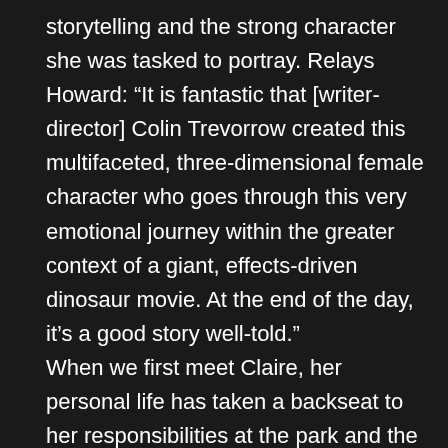storytelling and the strong character she was tasked to portray. Relays Howard: “It is fantastic that [writer-director] Colin Trevorrow created this multifaceted, three-dimensional female character who goes through this very emotional journey within the greater context of a giant, effects-driven dinosaur movie. At the end of the day, it’s a good story well-told.” When we first meet Claire, her personal life has taken a backseat to her responsibilities at the park and the pressures—not to mention the questionable ethical decisions—that come along with them. “Claire is responsible for the entire park and understands that at the end of the day